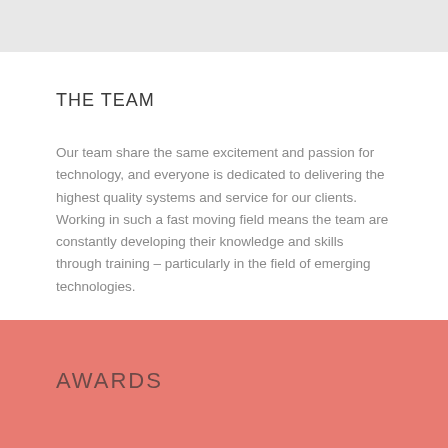THE TEAM
Our team share the same excitement and passion for technology, and everyone is dedicated to delivering the highest quality systems and service for our clients. Working in such a fast moving field means the team are constantly developing their knowledge and skills through training – particularly in the field of emerging technologies.
AWARDS